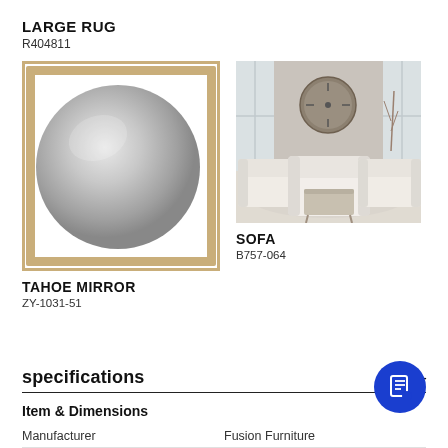LARGE RUG
R404811
[Figure (photo): Square wooden-framed mirror with round circular mirror inside on white background]
TAHOE MIRROR
ZY-1031-51
[Figure (photo): Living room scene with white sofas, coffee table, large clock on wall, and light rug]
SOFA
B757-064
specifications
Item & Dimensions
| Manufacturer | Fusion Furniture |
| --- | --- |